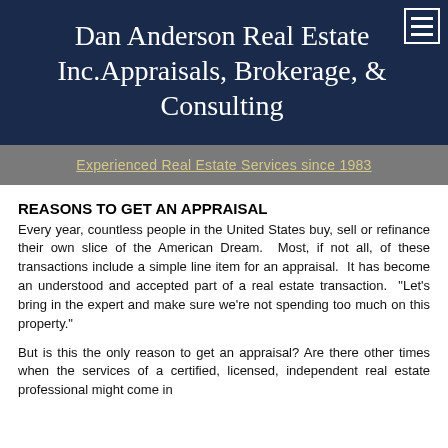Dan Anderson Real Estate Inc.Appraisals, Brokerage, & Consulting
Experienced Real Estate Services since 1983
REASONS TO GET AN APPRAISAL
Every year, countless people in the United States buy, sell or refinance their own slice of the American Dream.  Most, if not all, of these transactions include a simple line item for an appraisal.  It has become an understood and accepted part of a real estate transaction.  "Let's bring in the expert and make sure we're not spending too much on this property."
But is this the only reason to get an appraisal? Are there other times when the services of a certified, licensed, independent real estate professional might come in